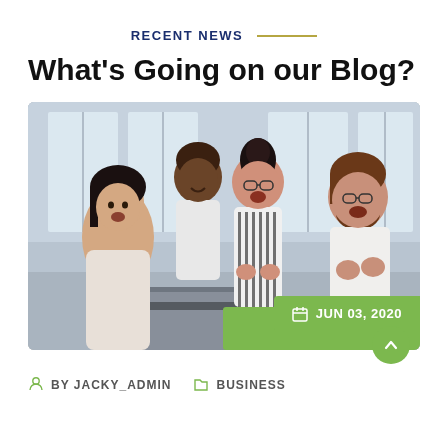RECENT NEWS
What's Going on our Blog?
[Figure (photo): Four happy office workers celebrating around a laptop — an Asian woman in front looking surprised, a Black man behind her smiling, a woman with glasses laughing, and a bearded man with glasses cheering. Office/window background.]
JUN 03, 2020
BY JACKY_ADMIN    BUSINESS